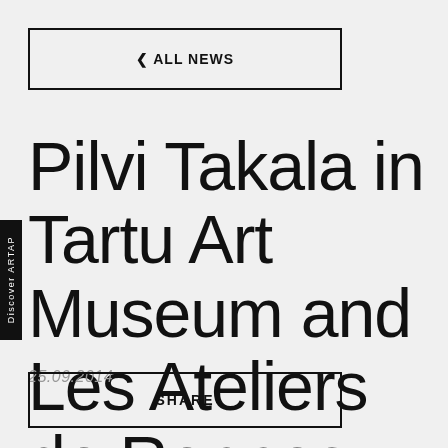< ALL NEWS
Pilvi Takala in Tartu Art Museum and Les Ateliers de Rennes
25.09.2014
SHARE
Discover ARTAP